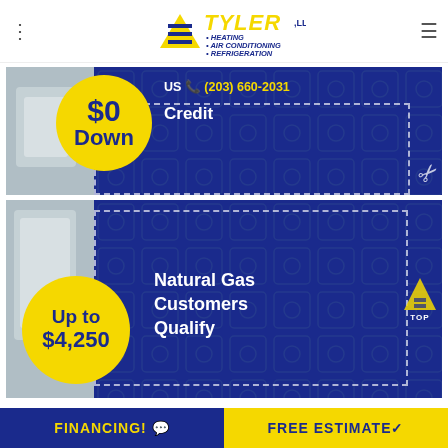TYLER LLC · HEATING · AIR CONDITIONING · REFRIGERATION
[Figure (infographic): Coupon 1: $0 Down, Call US (203) 660-2031, Credit, with dashed border and scissors icon]
[Figure (infographic): Coupon 2: Up to $4,250, Natural Gas Customers Qualify, with dashed border and TOP back-to-top button]
FINANCING! | FREE ESTIMATE